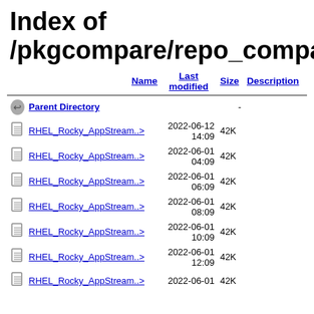Index of /pkgcompare/repo_compare
| Name | Last modified | Size | Description |
| --- | --- | --- | --- |
| Parent Directory |  | - |  |
| RHEL_Rocky_AppStream..> | 2022-06-12 14:09 | 42K |  |
| RHEL_Rocky_AppStream..> | 2022-06-01 04:09 | 42K |  |
| RHEL_Rocky_AppStream..> | 2022-06-01 06:09 | 42K |  |
| RHEL_Rocky_AppStream..> | 2022-06-01 08:09 | 42K |  |
| RHEL_Rocky_AppStream..> | 2022-06-01 10:09 | 42K |  |
| RHEL_Rocky_AppStream..> | 2022-06-01 12:09 | 42K |  |
| RHEL_Rocky_AppStream..> | 2022-06-01 | 42K |  |